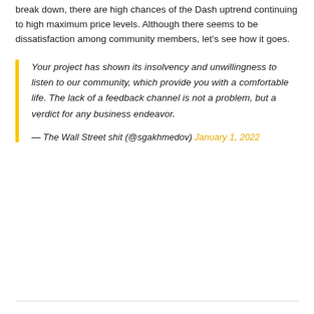break down, there are high chances of the Dash uptrend continuing to high maximum price levels. Although there seems to be dissatisfaction among community members, let's see how it goes.
Your project has shown its insolvency and unwillingness to listen to our community, which provide you with a comfortable life. The lack of a feedback channel is not a problem, but a verdict for any business endeavor.
— The Wall Street shit (@sgakhmedov) January 1, 2022